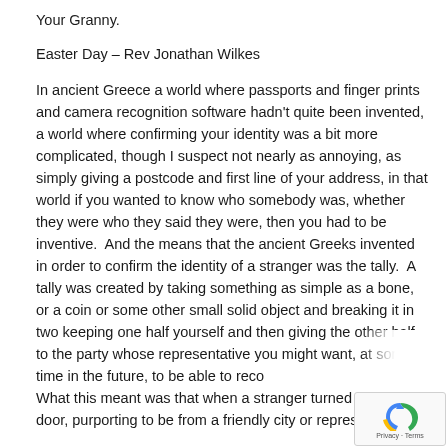Your Granny.
Easter Day – Rev Jonathan Wilkes
In ancient Greece a world where passports and finger prints and camera recognition software hadn't quite been invented, a world where confirming your identity was a bit more complicated, though I suspect not nearly as annoying, as simply giving a postcode and first line of your address, in that world if you wanted to know who somebody was, whether they were who they said they were, then you had to be inventive.  And the means that the ancient Greeks invented  in order to confirm the identity of a stranger was the tally.  A tally was created by taking something as simple as a bone, or a coin or some other small solid object and breaking it in two keeping one half yourself and then giving the other half to the party whose representative you might want, at some time in the future, to be able to reco... What this meant was that when a stranger turned up at y... door, purporting to be from a friendly city or representing...